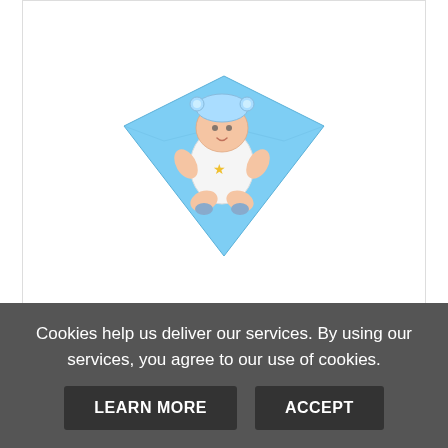[Figure (photo): A miniature realistic baby doll wearing a white outfit with a bear hat, lying on a blue blanket]
Terabithia Miniature 10" Realistic ...
only $23.99
[Figure (other): Five gold star rating icons]
VIEW
ADD TO CART
Cookies help us deliver our services. By using our services, you agree to our use of cookies.
LEARN MORE
ACCEPT